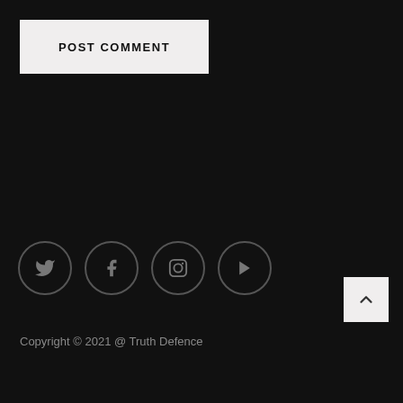POST COMMENT
[Figure (other): Social media icon circles: Twitter, Facebook, Instagram, YouTube]
[Figure (other): Scroll to top button with upward chevron arrow]
Copyright © 2021 @ Truth Defence